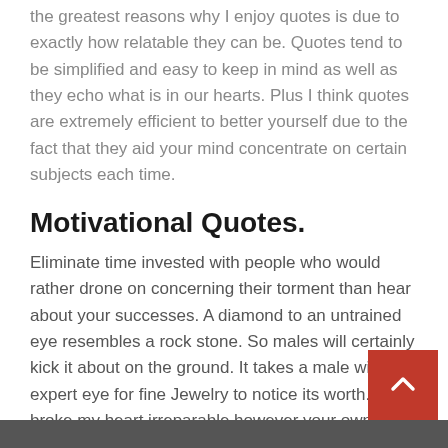the greatest reasons why I enjoy quotes is due to exactly how relatable they can be. Quotes tend to be simplified and easy to keep in mind as well as they echo what is in our hearts. Plus I think quotes are extremely efficient to better yourself due to the fact that they aid your mind concentrate on certain subjects each time.
Motivational Quotes.
Eliminate time invested with people who would rather drone on concerning their torment than hear about your successes. A diamond to an untrained eye resembles a rock stone. So males will certainly kick it about on the ground. It takes a male with an expert eye for fine Jewelry to notice its worth. You broke my heart irreparable however your own will certainly be shattered to fatality that you can never love again after that you thirst for my love that you as soon as discarded.